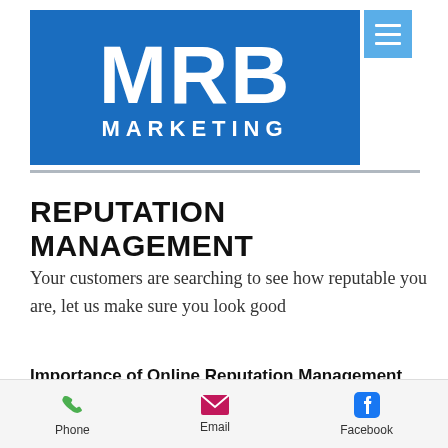[Figure (logo): MRB Marketing logo — blue rectangle with white bold letters MRB on top and MARKETING below in spaced capitals, with a lighter blue hamburger menu icon box to the right]
REPUTATION MANAGEMENT
Your customers are searching to see how reputable you are, let us make sure you look good
Importance of Online Reputation Management
Phone   Email   Facebook